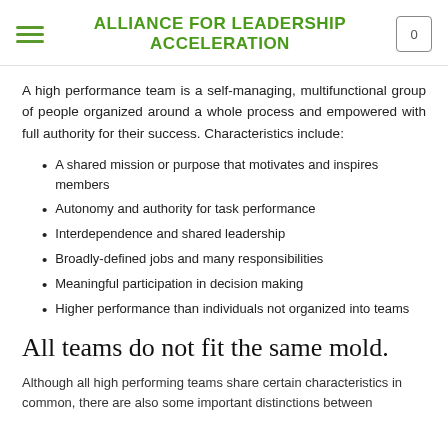ALLIANCE FOR LEADERSHIP ACCELERATION
A high performance team is a self-managing, multifunctional group of people organized around a whole process and empowered with full authority for their success. Characteristics include:
A shared mission or purpose that motivates and inspires members
Autonomy and authority for task performance
Interdependence and shared leadership
Broadly-defined jobs and many responsibilities
Meaningful participation in decision making
Higher performance than individuals not organized into teams
All teams do not fit the same mold.
Although all high performing teams share certain characteristics in common, there are also some important distinctions between